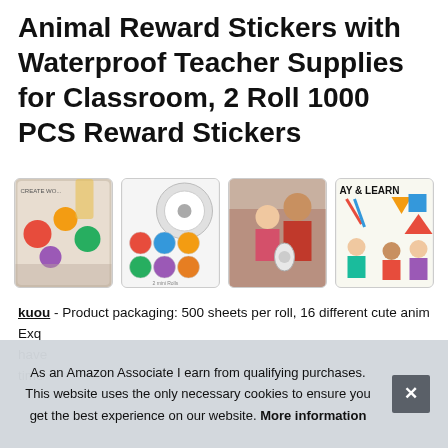Animal Reward Stickers with Waterproof Teacher Supplies for Classroom, 2 Roll 1000 PCS Reward Stickers
[Figure (photo): Four product thumbnail images showing animal reward sticker rolls, sticker sheets with cute animal designs, a child with a woman using sticker rolls, and children playing and learning.]
kuou - Product packaging: 500 sheets per roll, 16 different cute anim... Exq... have... time...
As an Amazon Associate I earn from qualifying purchases. This website uses the only necessary cookies to ensure you get the best experience on our website. More information